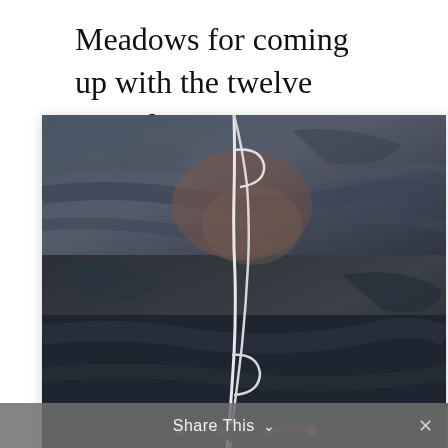Meadows for coming up with the twelve point list.
[Figure (photo): A rock climber hanging from a rope against a dark, textured rock face. The rope forms a loop. The climber's arms are outstretched near the bottom of the image.]
Share This ∨  ×